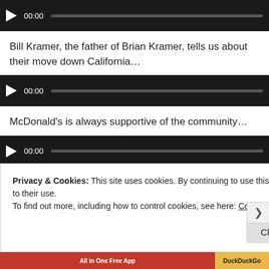[Figure (screenshot): Audio player with dark background, play button, 00:00 timestamp, and grey progress bar]
Bill Kramer, the father of Brian Kramer, tells us about their move down California…
[Figure (screenshot): Audio player with dark background, play button, 00:00 timestamp, and grey progress bar]
McDonald's is always supportive of the community…
[Figure (screenshot): Audio player with dark background, play button, 00:00 timestamp, and grey progress bar]
Posted in News
Privacy & Cookies: This site uses cookies. By continuing to use this website, you agree to their use. To find out more, including how to control cookies, see here: Cookie Policy
Close and accept